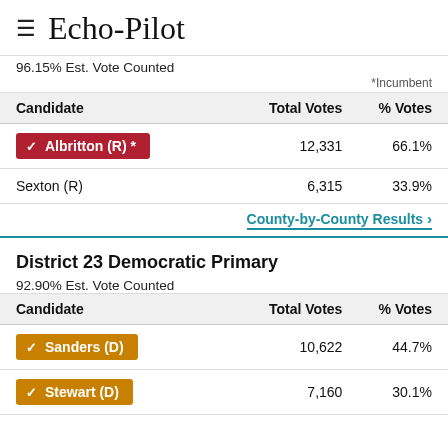Echo-Pilot
96.15% Est. Vote Counted
*Incumbent
| Candidate | Total Votes | % Votes |
| --- | --- | --- |
| ✓ Albritton (R) * | 12,331 | 66.1% |
| Sexton (R) | 6,315 | 33.9% |
County-by-County Results ›
District 23 Democratic Primary
92.90% Est. Vote Counted
| Candidate | Total Votes | % Votes |
| --- | --- | --- |
| ✓ Sanders (D) | 10,622 | 44.7% |
| ✓ Stewart (D) | 7,160 | 30.1% |